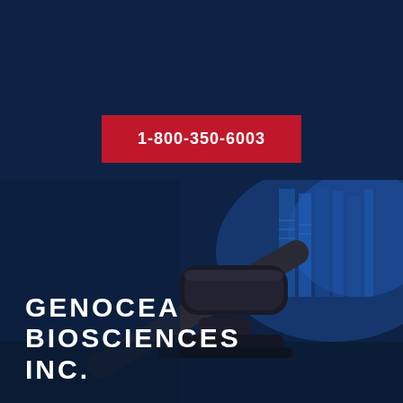[Figure (logo): Robbins LLP law firm logo with red underline decoration]
1-800-350-6003
[Figure (photo): Dark blue toned photo of a judge's gavel on a desk with legal books in background]
GENOCEA BIOSCIENCES INC.